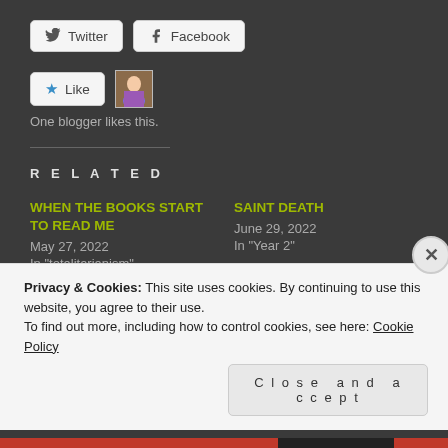[Figure (other): Twitter and Facebook share buttons]
[Figure (other): Like button with star icon and blogger avatar thumbnail]
One blogger likes this.
RELATED
WHEN THE BOOKS START TO READ ME
May 27, 2022
In "totalitarianism"
SAINT DEATH
June 29, 2022
In "Year 2"
HAMADRYAD
March 26, 2022
Privacy & Cookies: This site uses cookies. By continuing to use this website, you agree to their use.
To find out more, including how to control cookies, see here: Cookie Policy
Close and accept